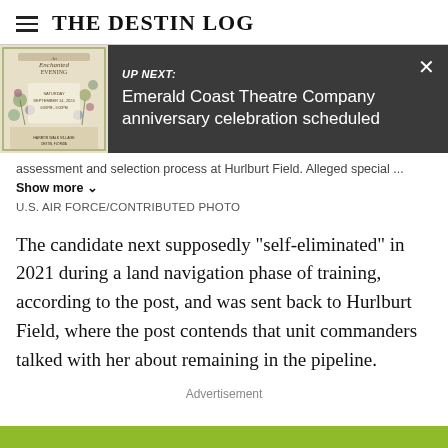THE DESTIN LOG
[Figure (screenshot): UP NEXT banner showing a floral event poster thumbnail on the left and text 'UP NEXT: Emerald Coast Theatre Company anniversary celebration scheduled' on dark grey background with close button]
assessment and selection process at Hurlburt Field. Alleged special ... Show more
U.S. AIR FORCE/CONTRIBUTED PHOTO
The candidate next supposedly "self-eliminated" in 2021 during a land navigation phase of training, according to the post, and was sent back to Hurlburt Field, where the post contends that unit commanders talked with her about remaining in the pipeline.
Advertisement